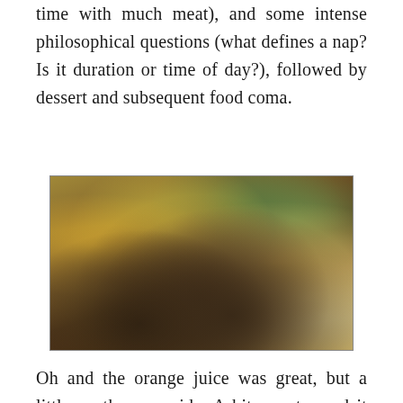time with much meat), and some intense philosophical questions (what defines a nap? Is it duration or time of day?), followed by dessert and subsequent food coma.
[Figure (photo): A plate of food with french fries, grilled meat chunks, green herbs/salad, and what appears to be dumplings or dough pieces, photographed with a warm vintage filter.]
Oh and the orange juice was great, but a little on the sour side. A bit sweeter and it would